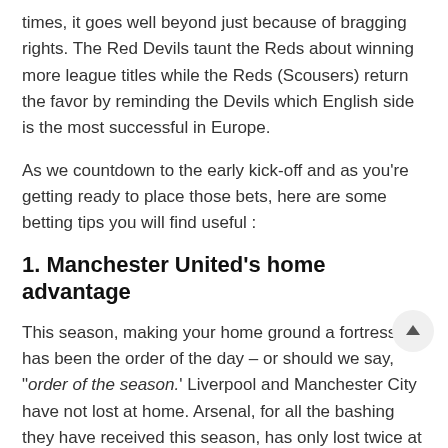times, it goes well beyond just because of bragging rights. The Red Devils taunt the Reds about winning more league titles while the Reds (Scousers) return the favor by reminding the Devils which English side is the most successful in Europe.
As we countdown to the early kick-off and as you're getting ready to place those bets, here are some betting tips you will find useful :
1. Manchester United's home advantage
This season, making your home ground a fortress has been the order of the day – or should we say, "order of the season.' Liverpool and Manchester City have not lost at home. Arsenal, for all the bashing they have received this season, has only lost twice at home this season.